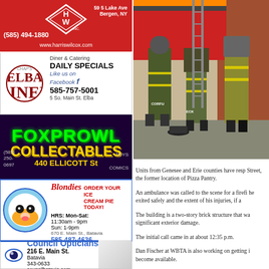[Figure (advertisement): Harris Wilcox Inc. advertisement. Red background, diamond logo with H and W. Phone (585) 494-1880, address 59 5 Lake Ave Bergen NY, website www.harriswilcox.com]
[Figure (advertisement): Elba Diner advertisement. Chap's Elba Diner, Diner & Catering, Daily Specials, Like us on Facebook, 585-757-5001, 5 So. Main St. Elba]
[Figure (advertisement): FoxProwl Collectables advertisement. Green and gold text on dark purple background. (585) 250-0697, 440 Ellicott St, Toys, Comics]
[Figure (advertisement): Blondies ice cream advertisement. ORDER YOUR ICE CREAM PIE TODAY! HRS: Mon-Sat: 11:30am - 9pm, Sun: 1-9pm. 670 E. Main St., Batavia. 585-487-4636]
[Figure (advertisement): Council Opticians advertisement. Eye logo, 216 E. Main St., Batavia, 343-0633, councilbatavia.com]
[Figure (photo): Firefighters from Corfu and other departments working at a fire scene. Three firefighters visible from behind, one labeled CORFU, one labeled ECK. Brick building in background with ladder truck.]
Units from Genesee and Erie counties have resp Street, the former location of Pizza Pantry.
An ambulance was called to the scene for a firefi he exited safely and the extent of his injuries, if a
The building is a two-story brick structure that wa significant exterior damage.
The initial call came in at about 12:35 p.m.
Dan Fischer at WBTA is also working on getting i become available.
UPDATE 1:50 p.m.: Tim Yaeger says the firefigh was treated and released. A second firefighter wi